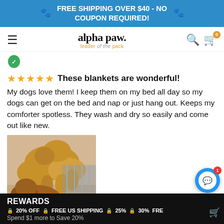FREE SHIPPING OVER $40 - NO COUPON REQUIRED!
[Figure (logo): Alpha Paw logo with tagline 'leader of the pack']
[Figure (photo): Two golden/tan colored dogs lying on a blanket]
These blankets are wonderful! My dogs love them! I keep them on my bed all day so my dogs can get on the bed and nap or just hang out. Keeps my comforter spotless. They wash and dry so easily and come out like new.
REWARDS
🔒 20% OFF   🔒 FREE US SHIPPING   🔒 25%   🔒 30%   FRE
Spend $1 more to Save 20%